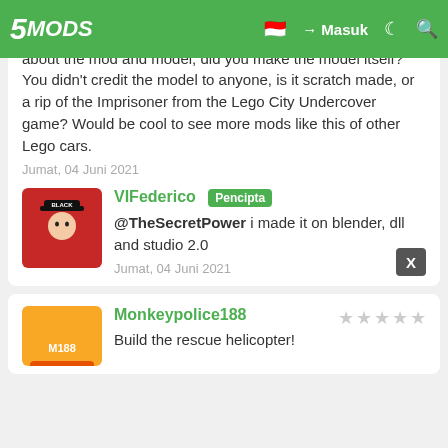5MODS | Masuk
prefer it to not use ELS; and I'd also prefer it to be an add-on instead of replace model. Another thing, you have strict rules about the mod and model, did you make the model itself? You didn't credit the model to anyone, is it scratch made, or a rip of the Imprisoner from the Lego City Undercover game? Would be cool to see more mods like this of other Lego cars.
Jumat, 04 Juni 2021
EduardoECC
WE NEED THE RESCUE HELICOPTER
Jumat, 04 Juni 2021
VIFederico Pencipta
@TheSecretPower i made it on blender, dll and studio 2.0
Jumat, 04 Juni 2021
Monkeypolice188
Build the rescue helicopter!